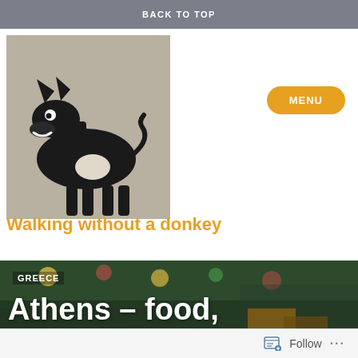BACK TO TOP
[Figure (illustration): Black silhouette illustration of a donkey/goat on a grey-beige background]
MENU
Walking without a donkey
[Figure (photo): Photo of a busy Athens street market/restaurant scene with colourful lights, green foliage, people dining, and a waiter holding menus]
GREECE
Athens – food, drink, shopping
Follow ...